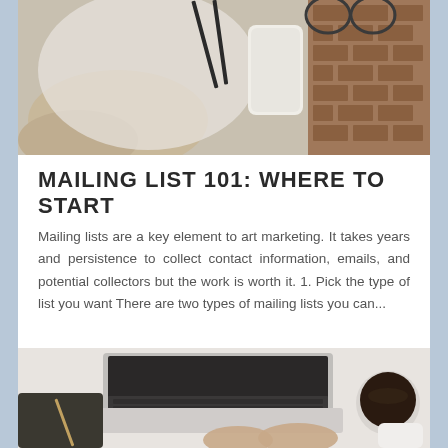[Figure (photo): Top-down view of desk workspace with person in cream sweater, pencils, white marble phone case, and brick wall background]
MAILING LIST 101: WHERE TO START
Mailing lists are a key element to art marketing. It takes years and persistence to collect contact information, emails, and potential collectors but the work is worth it. 1. Pick the type of list you want There are two types of mailing lists you can...
[Figure (photo): Top-down view of person typing on MacBook laptop at white desk, with leather notebook and pen on left, coffee mug on right, smartphone at bottom right]